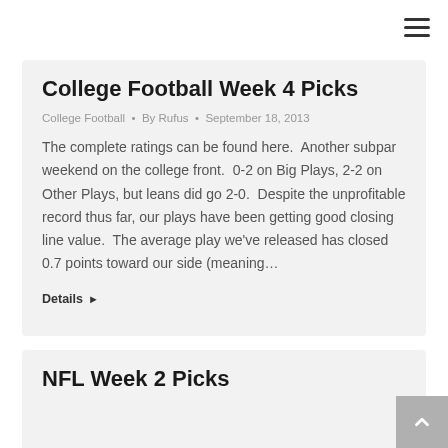[Figure (other): Hamburger menu icon (three horizontal lines) in top right corner]
College Football Week 4 Picks
College Football • By Rufus • September 18, 2013
The complete ratings can be found here.  Another subpar weekend on the college front.  0-2 on Big Plays, 2-2 on Other Plays, but leans did go 2-0.  Despite the unprofitable record thus far, our plays have been getting good closing line value.  The average play we've released has closed 0.7 points toward our side (meaning…
Details ▶
NFL Week 2 Picks